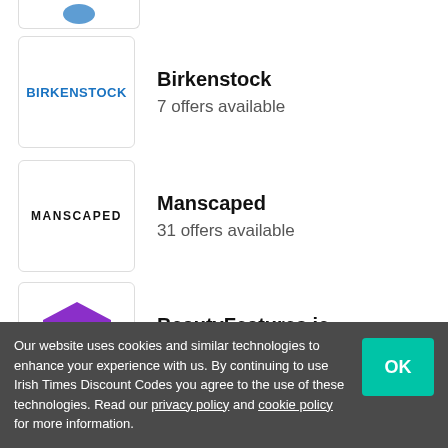Birkenstock — 7 offers available
Manscaped — 31 offers available
BeautyFeatures.ie — 18 offers available
tarte Offers
Our website uses cookies and similar technologies to enhance your experience with us. By continuing to use Irish Times Discount Codes you agree to the use of these technologies. Read our privacy policy and cookie policy for more information.